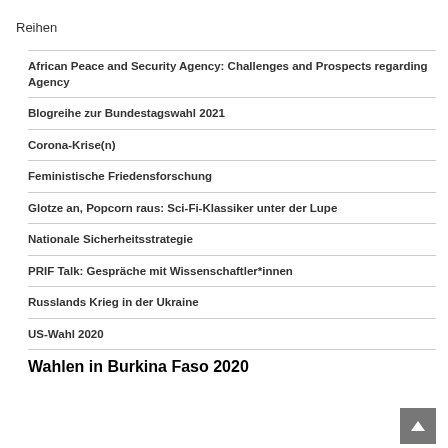Reihen
African Peace and Security Agency: Challenges and Prospects regarding Agency
Blogreihe zur Bundestagswahl 2021
Corona-Krise(n)
Feministische Friedensforschung
Glotze an, Popcorn raus: Sci-Fi-Klassiker unter der Lupe
Nationale Sicherheitsstrategie
PRIF Talk: Gespräche mit Wissenschaftler*innen
Russlands Krieg in der Ukraine
US-Wahl 2020
Wahlen in Burkina Faso 2020